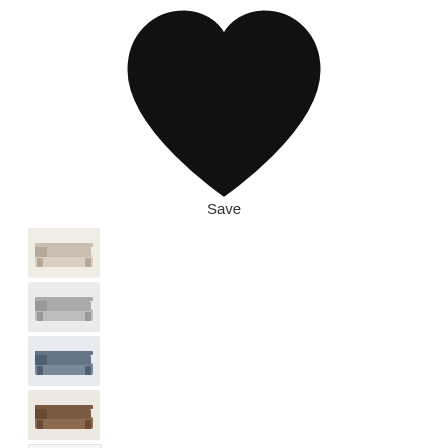[Figure (illustration): Large black heart / favorite icon centered at top of page]
Save
[Figure (photo): Five small thumbnail images of bed variants arranged vertically on the left side]
+7
Cloer Upholstered Standard Bed
$101.02$355.99
575+